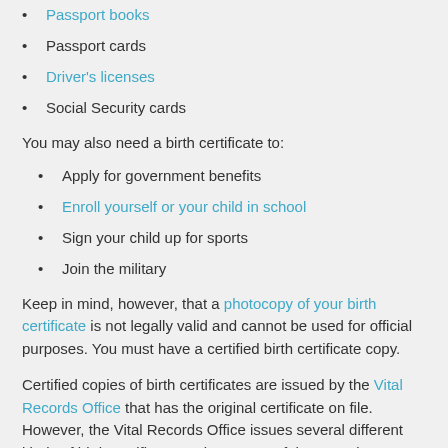Passport books
Passport cards
Driver's licenses
Social Security cards
You may also need a birth certificate to:
Apply for government benefits
Enroll yourself or your child in school
Sign your child up for sports
Join the military
Keep in mind, however, that a photocopy of your birth certificate is not legally valid and cannot be used for official purposes. You must have a certified birth certificate copy.
Certified copies of birth certificates are issued by the Vital Records Office that has the original certificate on file. However, the Vital Records Office issues several different kinds of birth certificate copies. Some of these copies are only for informational purposes and some are with important and the right